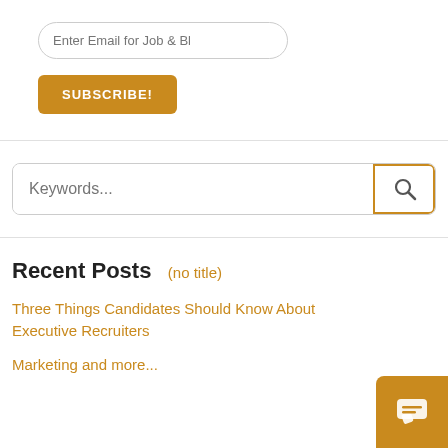Enter Email for Job & Bl
SUBSCRIBE!
Keywords...
Recent Posts
(no title)
Three Things Candidates Should Know About Executive Recruiters
Marketing and more...